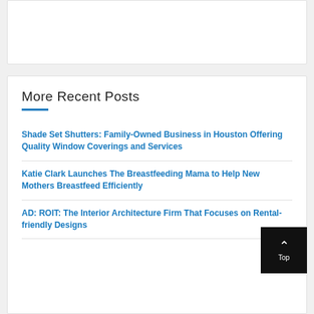More Recent Posts
Shade Set Shutters: Family-Owned Business in Houston Offering Quality Window Coverings and Services
Katie Clark Launches The Breastfeeding Mama to Help New Mothers Breastfeed Efficiently
AD: ROIT: The Interior Architecture Firm That Focuses on Rental-friendly Designs